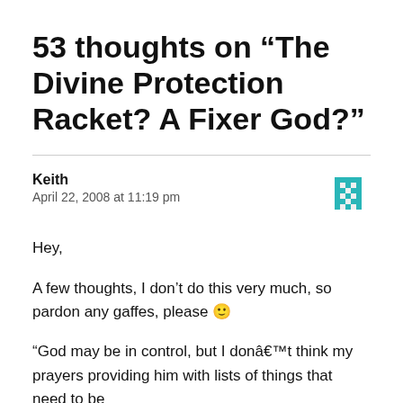53 thoughts on “The Divine Protection Racket? A Fixer God?”
Keith
April 22, 2008 at 11:19 pm
Hey,
A few thoughts, I don’t do this very much, so pardon any gaffes, please 🙂
“God may be in control, but I donâ€™t think my prayers providing him with lists of things that need to be